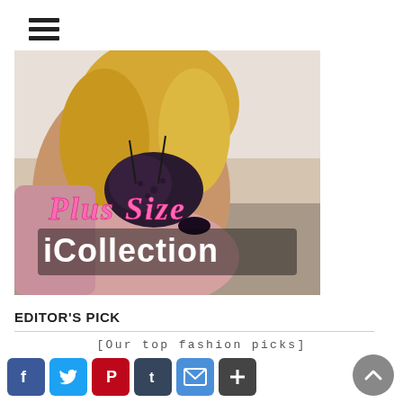[Figure (other): Hamburger menu icon (three horizontal black lines)]
[Figure (photo): A blonde curly-haired woman wearing a black lace and pink lingerie, seated, with text overlay reading 'Plus Size iCollection' in stylized pink script and white/grey bold text]
EDITOR'S PICK
[Our top fashion picks]
[Figure (other): Social sharing buttons row: Facebook (blue), Twitter (light blue), Pinterest (red), Tumblr (dark blue/grey), Email (blue-grey), Share/Plus (dark grey)]
[Figure (other): Scroll-to-top circular button with upward chevron arrow, grey background]